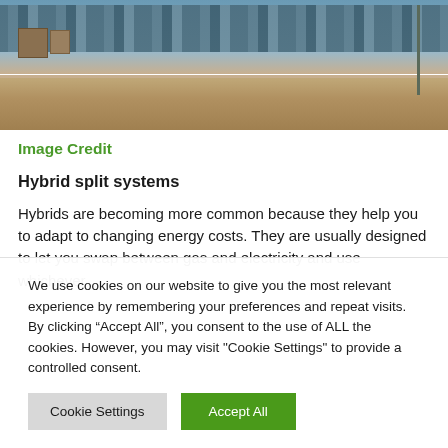[Figure (photo): Construction site photo showing equipment and machinery lined up in a row with sandy ground, viewed from ground level.]
Image Credit
Hybrid split systems
Hybrids are becoming more common because they help you to adapt to changing energy costs. They are usually designed to let you swap between gas and electricity and use whichever
We use cookies on our website to give you the most relevant experience by remembering your preferences and repeat visits. By clicking “Accept All”, you consent to the use of ALL the cookies. However, you may visit "Cookie Settings" to provide a controlled consent.